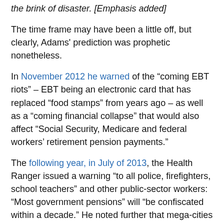the brink of disaster. [Emphasis added]
The time frame may have been a little off, but clearly, Adams' prediction was prophetic nonetheless.
In November 2012 he warned of the “coming EBT riots” – EBT being an electronic card that has replaced “food stamps” from years ago – as well as a “coming financial collapse” that would also affect “Social Security, Medicare and federal workers’ retirement pension payments.”
The following year, in July of 2013, the Health Ranger issued a warning “to all police, firefighters, school teachers” and other public-sector workers: “Most government pensions” will “be confiscated within a decade.” He noted further that mega-cities like Detroit, Chicago, Los Angeles and others were heavily in debt and that their pension plans were already in danger of